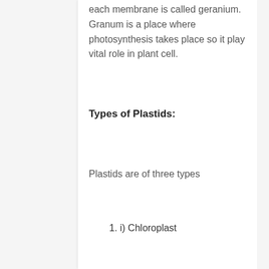each membrane is called geranium. Granum is a place where photosynthesis takes place so it play vital role in plant cell.
Types of Plastids:
Plastids are of three types
1. i) Chloroplast